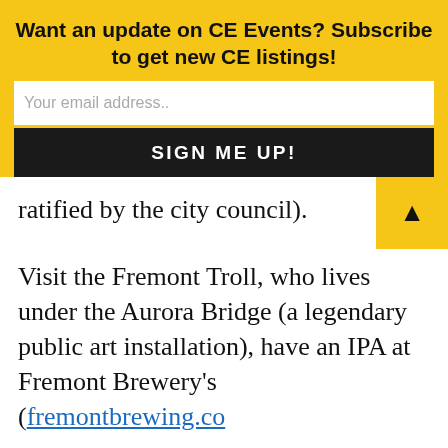Want an update on CE Events? Subscribe to get new CE listings!
Your email address..
SIGN ME UP!
ratified by the city council).
Visit the Fremont Troll, who lives under the Aurora Bridge (a legendary public art installation), have an IPA at Fremont Brewery's (fremontbrewing.co